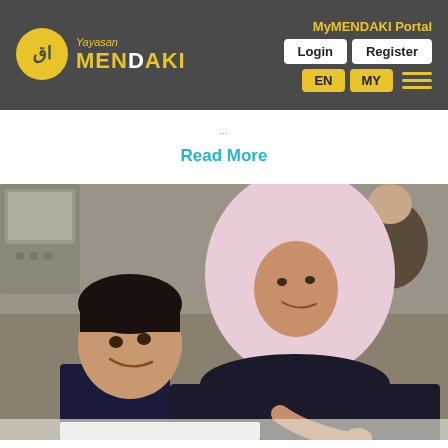Yayasan MENDAKI — MyMENDAKI Portal — Login | Register | EN | MY
Read More
[Figure (photo): A woman wearing a pink hijab and dark clothing smiles while helping a young boy with an activity at a table. The boy has short black hair and wears a dark top. They appear to be in an indoor educational or community setting.]